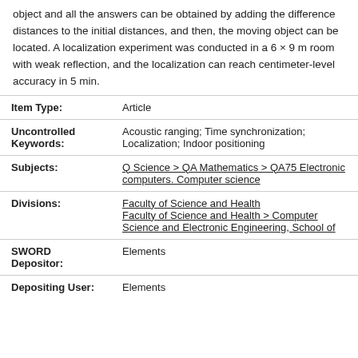object and all the answers can be obtained by adding the difference distances to the initial distances, and then, the moving object can be located. A localization experiment was conducted in a 6 × 9 m room with weak reflection, and the localization can reach centimeter-level accuracy in 5 min.
| Field | Value |
| --- | --- |
| Item Type: | Article |
| Uncontrolled Keywords: | Acoustic ranging; Time synchronization; Localization; Indoor positioning |
| Subjects: | Q Science > QA Mathematics > QA75 Electronic computers. Computer science |
| Divisions: | Faculty of Science and Health
Faculty of Science and Health > Computer Science and Electronic Engineering, School of |
| SWORD Depositor: | Elements |
| Depositing User: | Elements |